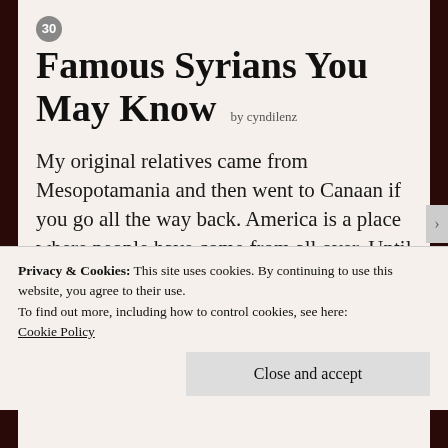Famous Syrians You May Know by cyndilenz
My original relatives came from Mesopotamania and then went to Canaan if you go all the way back. America is a place where people have come from all over. Until now.
Our US media seems perfectly happy to spread the hate. But they don’t speak for us.
Privacy & Cookies: This site uses cookies. By continuing to use this website, you agree to their use.
To find out more, including how to control cookies, see here: Cookie Policy
Close and accept